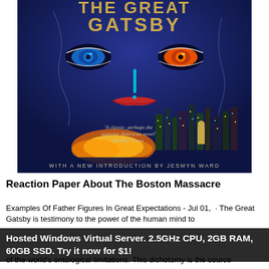[Figure (illustration): Book cover of The Great Gatsby showing a dark blue background with stylized glowing eyes, red lips, a city skyline at night with colorful lights, text reading 'THE GREAT GATSBY', a quote 'A classic, perhaps the supreme American novel' Sunday Times, and 'WITH A NEW INTRODUCTION BY JESMYN WARD']
Reaction Paper About The Boston Massacre
Examples Of Father Figures In Great Expectations - Jul 01,  · The Great Gatsby is testimony to the power of the human mind to Hosted Windows Virtual Server. 2.5GHz CPU, 2GB RAM, 60GB SSD. Try it now for $1! hs in ation off against a sense of the world's ontological limitations. This dichotomy is the source of the ...
Hosted Windows Virtual Server. 2.5GHz CPU, 2GB RAM, 60GB SSD. Try it now for $1!